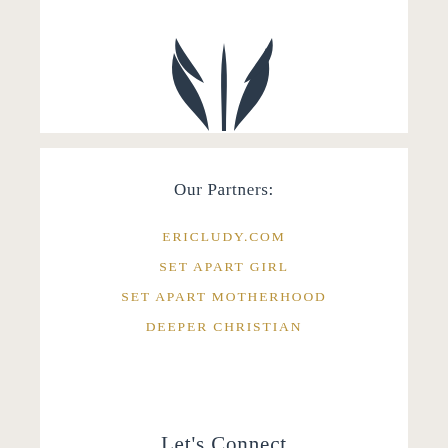[Figure (logo): Dark navy blue leaf/plant logo mark, partially visible at the bottom of the top card]
Our Partners:
ERICLUDY.COM
SET APART GIRL
SET APART MOTHERHOOD
DEEPER CHRISTIAN
Let's Connect